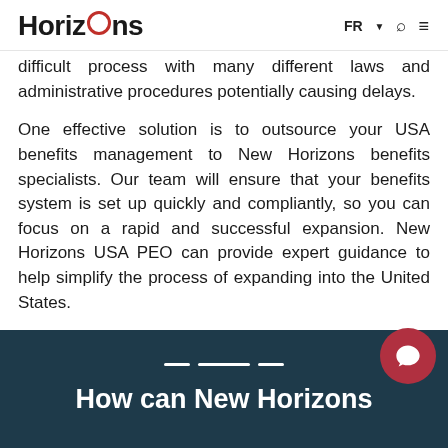Horizons   FR ▼ 🔍 ≡
difficult process with many different laws and administrative procedures potentially causing delays.
One effective solution is to outsource your USA benefits management to New Horizons benefits specialists. Our team will ensure that your benefits system is set up quickly and compliantly, so you can focus on a rapid and successful expansion. New Horizons USA PEO can provide expert guidance to help simplify the process of expanding into the United States.
How can New Horizons